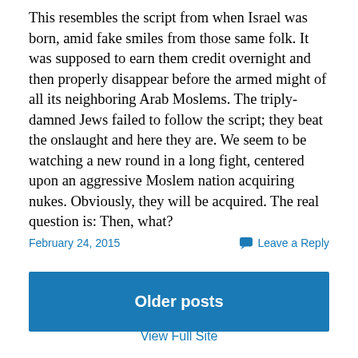This resembles the script from when Israel was born, amid fake smiles from those same folk. It was supposed to earn them credit overnight and then properly disappear before the armed might of all its neighboring Arab Moslems. The triply-damned Jews failed to follow the script; they beat the onslaught and here they are. We seem to be watching a new round in a long fight, centered upon an aggressive Moslem nation acquiring nukes. Obviously, they will be acquired. The real question is: Then, what?
February 24, 2015
Leave a Reply
Older posts
View Full Site